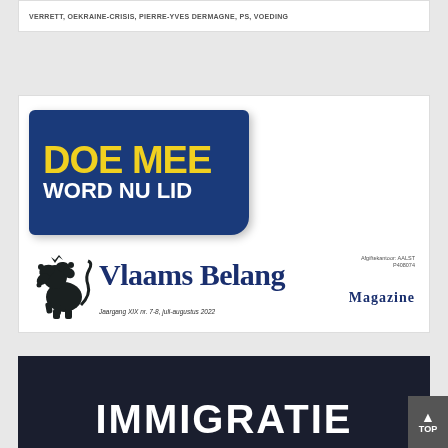VERRETT, OEKRAINE-CRISIS, PIERRE-YVES DERMAGNE, PS, VOEDING
[Figure (illustration): Blue banner with yellow bold text 'DOE MEE' and white bold text 'WORD NU LID']
[Figure (logo): Vlaams Belang Magazine logo with lion illustration, text 'Vlaams Belang Magazine', issue line 'Jaargang XIX nr. 7-8, juli-augustus 2022', top right small text 'Afgiftekantoor: AALST P408074']
[Figure (illustration): Dark blue/navy banner with large white bold text 'IMMIGRATIE']